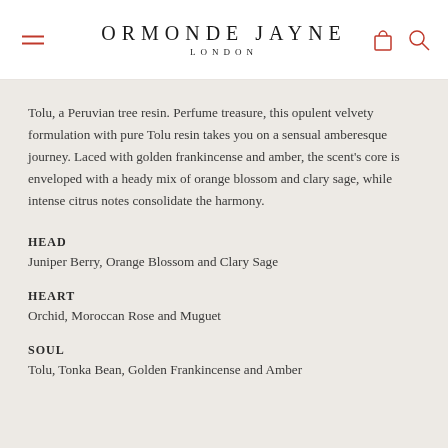ORMONDE JAYNE LONDON
Tolu, a Peruvian tree resin. Perfume treasure, this opulent velvety formulation with pure Tolu resin takes you on a sensual amberesque journey. Laced with golden frankincense and amber, the scent's core is enveloped with a heady mix of orange blossom and clary sage, while intense citrus notes consolidate the harmony.
HEAD
Juniper Berry, Orange Blossom and Clary Sage
HEART
Orchid, Moroccan Rose and Muguet
SOUL
Tolu, Tonka Bean, Golden Frankincense and Amber